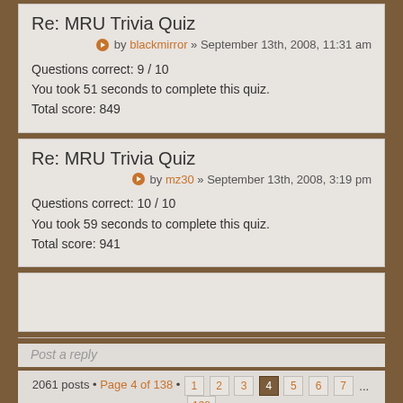Re: MRU Trivia Quiz
by blackmirror » September 13th, 2008, 11:31 am
Questions correct: 9 / 10
You took 51 seconds to complete this quiz.
Total score: 849
Re: MRU Trivia Quiz
by mz30 » September 13th, 2008, 3:19 pm
Questions correct: 10 / 10
You took 59 seconds to complete this quiz.
Total score: 941
Post a reply
2061 posts • Page 4 of 138 • 1 2 3 4 5 6 7 ... 138
Return to General Discussions